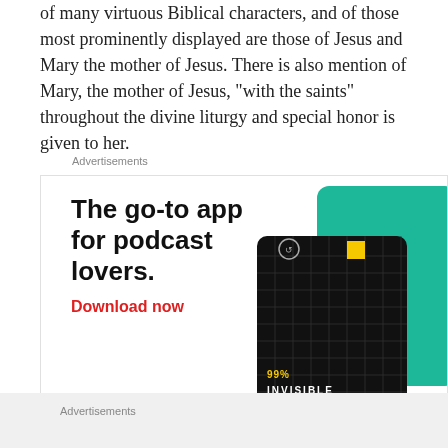of many virtuous Biblical characters, and of those most prominently displayed are those of Jesus and Mary the mother of Jesus. There is also mention of Mary, the mother of Jesus, “with the saints” throughout the divine liturgy and special honor is given to her.
Advertisements
[Figure (illustration): Advertisement for a podcast app. Headline: 'The go-to app for podcast lovers.' with 'Download now' call-to-action in red. Right side shows stylized podcast app cards including '99% Invisible' on a black grid background and a green card partially visible.]
Advertisements